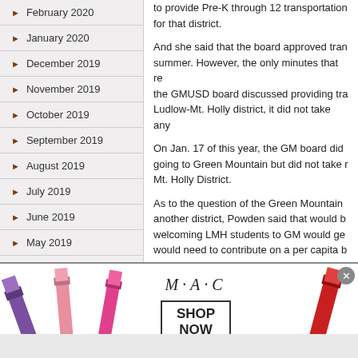February 2020
January 2020
December 2019
November 2019
October 2019
September 2019
August 2019
July 2019
June 2019
May 2019
April 2019
March 2019
to provide Pre-K through 12 transportation for that district.
And she said that the board approved transportation last summer. However, the only minutes that reflect the GMUSD board discussed providing transportation for the Ludlow-Mt. Holly district, it did not take any action.
On Jan. 17 of this year, the GM board did discuss students going to Green Mountain but did not take action on the Mt. Holly District.
As to the question of the Green Mountain taking students from another district, Powden said that would be up to GM. A district welcoming LMH students to GM would get tuition but GM would need to contribute on a per capita basis.
Powden also said she did not know the co...
[Figure (advertisement): MAC Cosmetics advertisement showing lipsticks in purple, pink and red colors with MAC logo and SHOP NOW button]